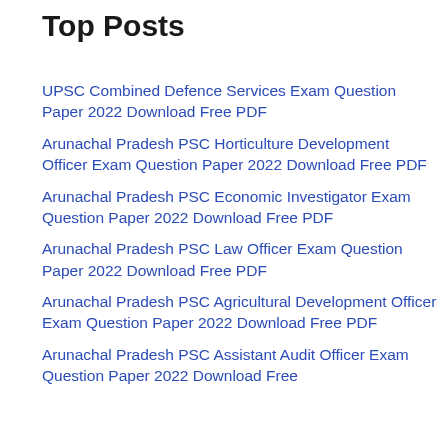Top Posts
UPSC Combined Defence Services Exam Question Paper 2022 Download Free PDF
Arunachal Pradesh PSC Horticulture Development Officer Exam Question Paper 2022 Download Free PDF
Arunachal Pradesh PSC Economic Investigator Exam Question Paper 2022 Download Free PDF
Arunachal Pradesh PSC Law Officer Exam Question Paper 2022 Download Free PDF
Arunachal Pradesh PSC Agricultural Development Officer Exam Question Paper 2022 Download Free PDF
Arunachal Pradesh PSC Assistant Audit Officer Exam Question Paper 2022 Download Free